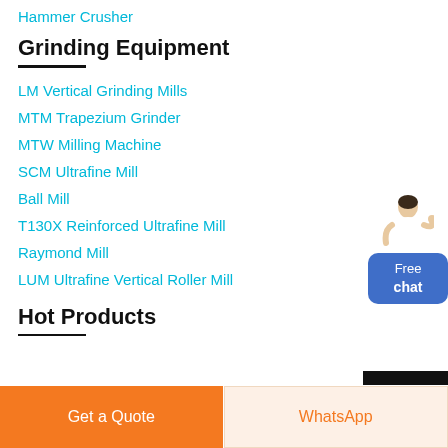Hammer Crusher
Grinding Equipment
LM Vertical Grinding Mills
MTM Trapezium Grinder
MTW Milling Machine
SCM Ultrafine Mill
Ball Mill
T130X Reinforced Ultrafine Mill
Raymond Mill
LUM Ultrafine Vertical Roller Mill
Hot Products
[Figure (illustration): Free chat widget with a customer service representative figure and a blue rounded button labeled 'Free chat']
Get a Quote
WhatsApp